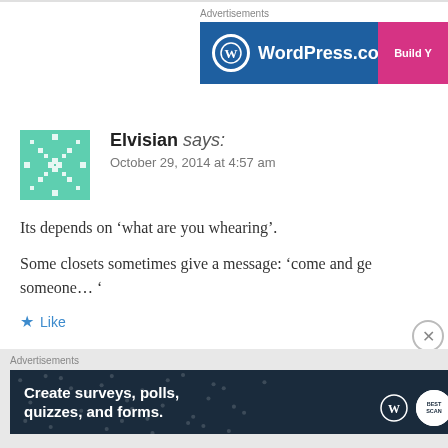[Figure (screenshot): WordPress.com advertisement banner with blue background, WordPress logo and 'Build Y' text in pink button]
Elvisian says: October 29, 2014 at 4:57 am
Its depends on ‘what are you whearing’.
Some closets sometimes give a message: ‘come and ge someone… ‘
Like
[Figure (screenshot): WordPress.com advertisement banner with dark background: Create surveys, polls, quizzes, and forms.]